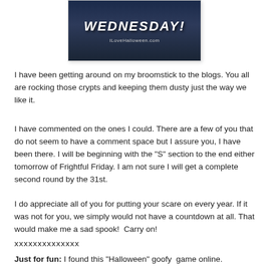[Figure (illustration): Dark spooky banner image with text 'WEDNESDAY!' in large stylized font and watermark 'ILoveHalloween.com' at the bottom]
I have been getting around on my broomstick to the blogs. You all are rocking those crypts and keeping them dusty just the way we like it.
I have commented on the ones I could. There are a few of you that do not seem to have a comment space but I assure you, I have been there. I will be beginning with the "S" section to the end either tomorrow of Frightful Friday. I am not sure I will get a complete second round by the 31st.
I do appreciate all of you for putting your scare on every year. If it was not for you, we simply would not have a countdown at all. That would make me a sad spook!  Carry on!
xxxxxxxxxxxxxx
Just for fun: I found this "Halloween" goofy  game online.